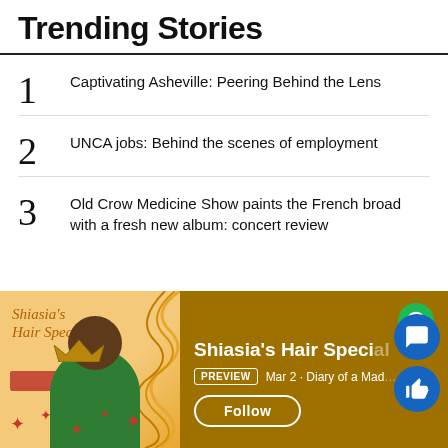Trending Stories
1  Captivating Asheville: Peering Behind the Lens
2  UNCA jobs: Behind the scenes of employment
3  Old Crow Medicine Show paints the French broad with a fresh new album: concert review
[Figure (screenshot): Spotify podcast card for 'Shiasia's Hair Special' with album art showing a person wearing a crown against an orange background with decorative swirls and red stars. The card shows PREVIEW badge, 'Mar 2 · Diary of a Mad...' text, and a Follow button. Blue circular chat and like buttons overlay the right side.]